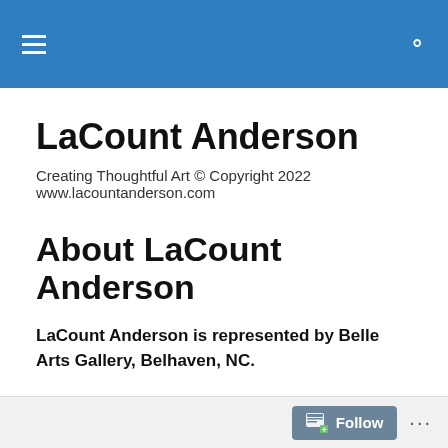LaCount Anderson
Creating Thoughtful Art © Copyright 2022 www.lacountanderson.com
About LaCount Anderson
LaCount Anderson is represented by Belle Arts Gallery, Belhaven, NC.
I fondly remember my 7th grade art class where Mrs. Gould, my art teacher, taught me the basics of creating art.  I still use those basic tools I received at Myers Junior High School in Summerdale, Ga. The necessity for learning
Follow